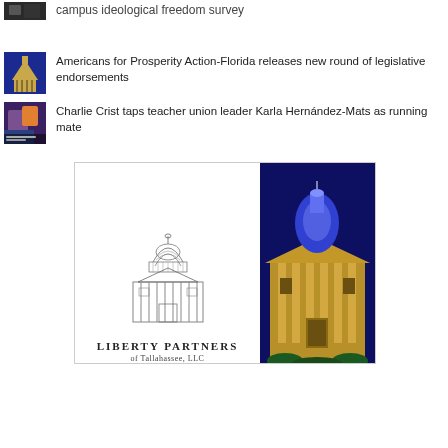campus ideological freedom survey
Americans for Prosperity Action-Florida releases new round of legislative endorsements
Charlie Crist taps teacher union leader Karla Hernández-Mats as running mate
[Figure (illustration): Liberty Partners of Tallahassee LLC advertisement with building sketch on left white background and blue-lit capitol building on right]